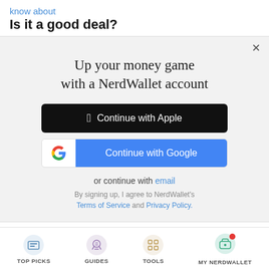know about
Is it a good deal?
[Figure (screenshot): Modal dialog for NerdWallet account sign-up with Apple and Google login buttons, email option, and terms of service text. Close button (X) in top right.]
TOP PICKS | GUIDES | TOOLS | MY NERDWALLET